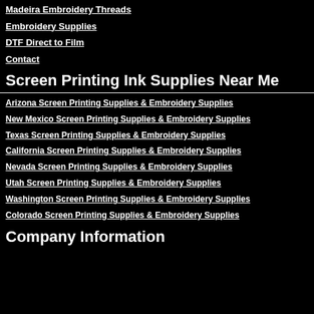Madeira Embroidery Threads
Embroidery Supplies
DTF Direct to Film
Contact
Screen Printing Ink Supplies Near Me
Arizona Screen Printing Supplies & Embroidery Supplies
New Mexico Screen Printing Supplies & Embroidery Supplies
Texas Screen Printing Supplies & Embroidery Supplies
California Screen Printing Supplies & Embroidery Supplies
Nevada Screen Printing Supplies & Embroidery Supplies
Utah Screen Printing Supplies & Embroidery Supplies
Washington Screen Printing Supplies & Embroidery Supplies
Colorado Screen Printing Supplies & Embroidery Supplies
Company Information